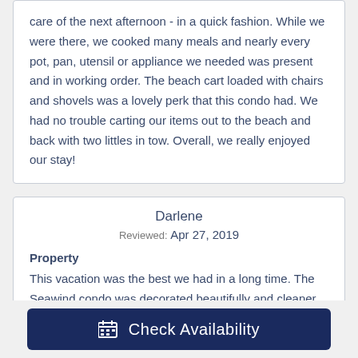care of the next afternoon - in a quick fashion. While we were there, we cooked many meals and nearly every pot, pan, utensil or appliance we needed was present and in working order. The beach cart loaded with chairs and shovels was a lovely perk that this condo had. We had no trouble carting our items out to the beach and back with two littles in tow. Overall, we really enjoyed our stay!
Darlene
Reviewed: Apr 27, 2019
Property
This vacation was the best we had in a long time. The Seawind condo was decorated beautifully and cleaner
Check Availability